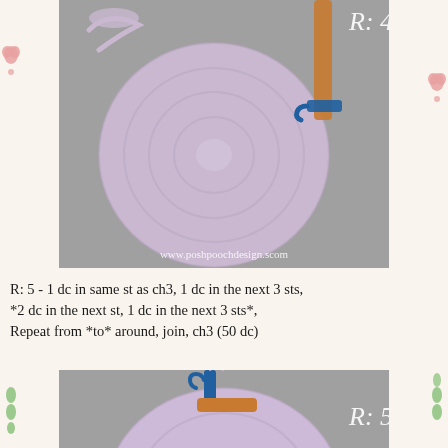[Figure (photo): A round lavender/purple crocheted circle (coaster or base) lying flat on a gray surface, with a blue-handled crochet hook and lavender yarn visible in the upper right corner. White text overlay reads 'R: 4'. Watermark at bottom: www.poshpoochdesign.scom]
R: 5 - 1 dc in same st as ch3, 1 dc in the next 3 sts, *2 dc in the next st, 1 dc in the next 3 sts*, Repeat from *to* around, join, ch3 (50 dc)
[Figure (photo): A round lavender/purple crocheted circle partially visible from above, with a blue-handled crochet hook positioned at the top. White text overlay reads 'R: 5'.]